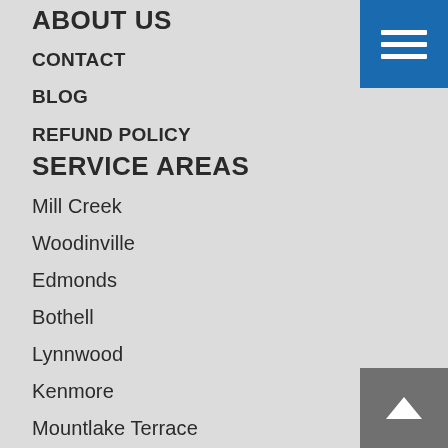ABOUT US
CONTACT
BLOG
REFUND POLICY
SERVICE AREAS
Mill Creek
Woodinville
Edmonds
Bothell
Lynnwood
Kenmore
Mountlake Terrace
Lake Forest Park